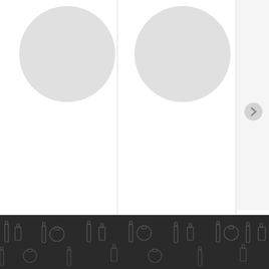[Figure (photo): Product card: circular product image placeholder (gray circle)]
Tea Salt Strawberry Raspberry 30 ml
USD $7.99
[Figure (photo): Product card: circular product image placeholder (gray circle)]
Tea Salt Blackcurrant Mint 30 ml
USD $7.99
[Figure (photo): Partially visible third product card with truncated title starting with 'T' and price starting with 'U']
[Figure (illustration): Dark footer bar with repeating vaping/e-cigarette product icon pattern in dark gray]